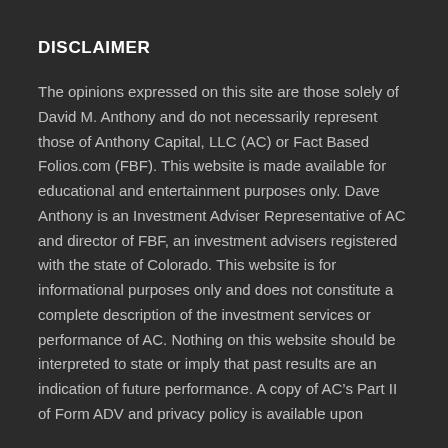DISCLAIMER
The opinions expressed on this site are those solely of David M. Anthony and do not necessarily represent those of Anthony Capital, LLC (AC) or Fact Based Folios.com (FBF). This website is made available for educational and entertainment purposes only. Dave Anthony is an Investment Adviser Representative of AC and director of FBF, an investment advisers registered with the state of Colorado. This website is for informational purposes only and does not constitute a complete description of the investment services or performance of AC. Nothing on this website should be interpreted to state or imply that past results are an indication of future performance. A copy of AC’s Part II of Form ADV and privacy policy is available upon